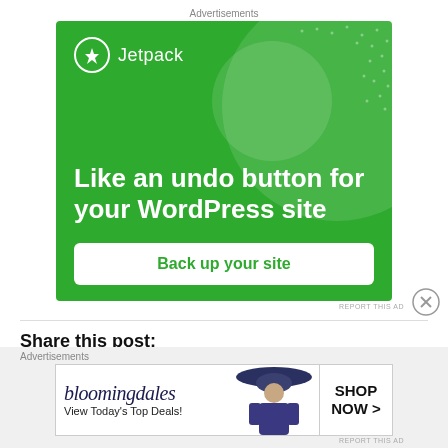Advertisements
[Figure (illustration): Jetpack advertisement on green background. Logo top left with lightning bolt icon and 'Jetpack' text. Large decorative circles top right. Text: 'Like an undo button for your WordPress site'. White button: 'Back up your site'.]
REPORT THIS AD
Share this post:
Advertisements
[Figure (illustration): Bloomingdale's advertisement. Logo text 'bloomingdales', tagline 'View Today's Top Deals!', center image of woman with wide-brim hat, right side box 'SHOP NOW >']
REPORT THIS AD